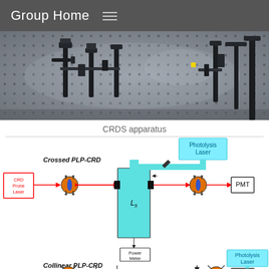Group Home
[Figure (photo): Photograph of an optical breadboard/table with various laser optics mounts, posts, and hardware arranged on a grid-holed metal surface (CRDS apparatus)]
CRDS apparatus
[Figure (schematic): Schematic diagram of Crossed PLP-CRD and Collinear PLP-CRD optical setups. Shows CRD Probe Laser (red box) connected via red beam path through mirror assemblies with a central cell (Ls) and Photolysis Laser (cyan box from top). Output goes to PMT. Power Meter below cell. Lower half shows Collinear PLP-CRD with similar layout and Photolysis Laser from top-right, CRD Probe Laser and PMT.]